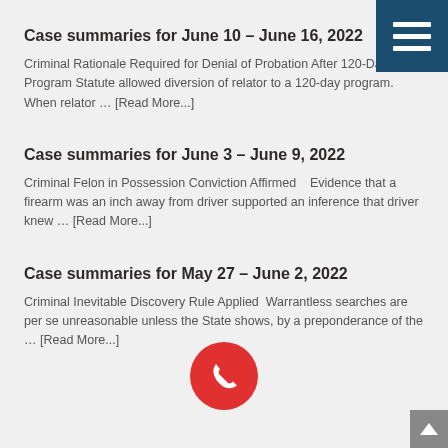Case summaries for June 10 – June 16, 2022
Criminal Rationale Required for Denial of Probation After 120-Day Program Statute allowed diversion of relator to a 120-day program. When relator … [Read More...]
Case summaries for June 3 – June 9, 2022
Criminal Felon in Possession Conviction Affirmed    Evidence that a firearm was an inch away from driver supported an inference that driver knew … [Read More...]
Case summaries for May 27 – June 2, 2022
Criminal Inevitable Discovery Rule Applied  Warrantless searches are per se unreasonable unless the State shows, by a preponderance of the … [Read More...]